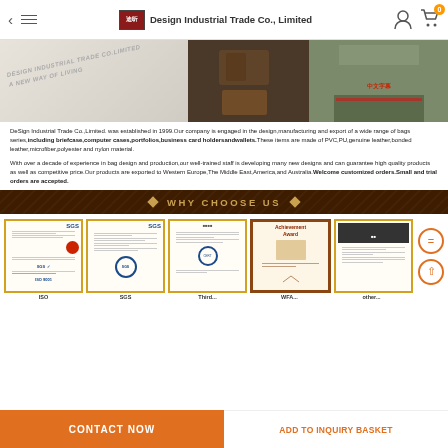Design Industrial Trade Co., Limited
[Figure (photo): Three-panel hero image: left panel shows white surface with text 'DESIGN INDUSTRIAL TRADE CO.LIMITED A NEW WAY OF LIVING', center shows bags/products, right shows group photo of company employees]
DeSign Industrial Trade Co.,Limited. was established in 1999.Our company is engaged in the design,manufacturing and export of a wide range of bags series,including briefcase,computer cases,portfolios,business card holdersandwallets.These items are made of PVC,PU,genuine leather,bonded leather,microfiber,polyester and nylon material.
With over a decade of experience in bag design and production,our well-trained staff is developing many new designs and can guarantee high quality products as well as competitive price.Our products are exported to Western Europe,The Middle East,America,and Australia.Welcome customized orders.Small and trial orders are accepted.
WHY CHOOSE US
[Figure (photo): Five certification documents displayed: SGS certificate with red circle mark, SGS certificate, third-party certification with blue stamp, Achievement Award certificate in brown frame, and another document. Two orange circular scroll buttons on the right.]
ISO   SGS   Third...   WFA...   other...
CONTACT NOW   ADD TO INQUIRY BASKET